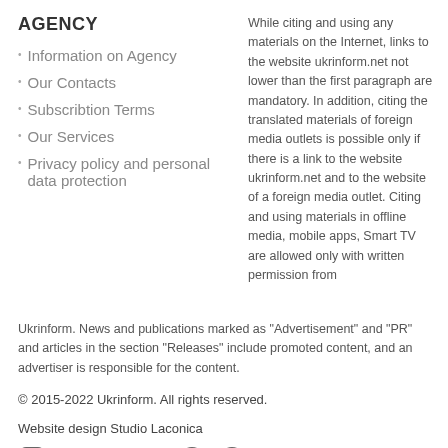AGENCY
Information on Agency
Our Contacts
Subscribtion Terms
Our Services
Privacy policy and personal data protection
While citing and using any materials on the Internet, links to the website ukrinform.net not lower than the first paragraph are mandatory. In addition, citing the translated materials of foreign media outlets is possible only if there is a link to the website ukrinform.net and to the website of a foreign media outlet. Citing and using materials in offline media, mobile apps, Smart TV are allowed only with written permission from Ukrinform. News and publications marked as "Advertisement" and "PR" and articles in the section "Releases" include promoted content, and an advertiser is responsible for the content.
© 2015-2022 Ukrinform. All rights reserved.
Website design Studio Laconica
[Figure (infographic): Social media icons: Instagram, Facebook, Twitter, YouTube, Telegram, Pinterest]